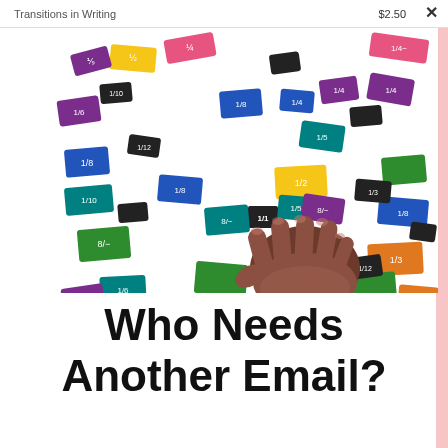Transitions in Writing   $2.50
[Figure (photo): A child's hand holding a small fraction tile card among many colorful fraction tiles scattered on a white surface. The tiles are various colors (blue, green, purple, orange, yellow, pink, black, teal) each showing a fraction like 1/2, 1/3, 1/4, 1/8, 1/6, 1/10, 1/12, etc.]
Who Needs Another Email?